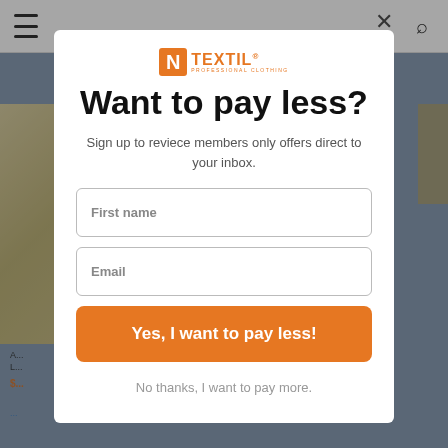[Figure (screenshot): Background website page with top navigation bar, hamburger menu icon, search icon, and partially visible product image on the left side.]
Want to pay less?
Sign up to reviece members only offers direct to your inbox.
First name
Email
Yes, I want to pay less!
No thanks, I want to pay more.